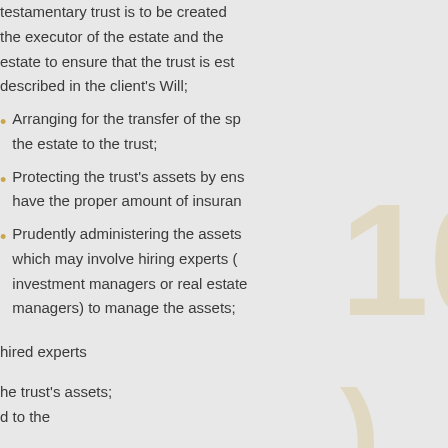testamentary trust is to be created the executor of the estate and the estate to ensure that the trust is established as described in the client's Will;
Arranging for the transfer of the specified assets from the estate to the trust;
Protecting the trust's assets by ensuring they have the proper amount of insurance;
Prudently administering the assets of the trust, which may involve hiring experts (such as investment managers or real estate managers) to manage the assets;
hired experts
he trust's assets;
d to the